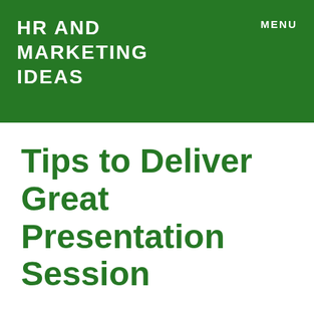HR AND MARKETING IDEAS
MENU
Tips to Deliver Great Presentation Session
Sometimes the presentation is a scourge pleasure for some people. Many people who will make a presentation